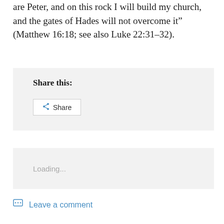are Peter, and on this rock I will build my church, and the gates of Hades will not overcome it” (Matthew 16:18; see also Luke 22:31–32).
Share this:
[Figure (other): Share button with share icon]
Loading...
Leave a comment